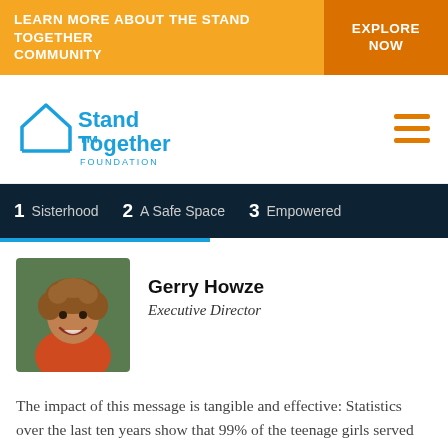LEARN MORE ABOUT THE STAND TOGETHER COMMUNITY | EXPLORE NOW
[Figure (logo): Stand Together Foundation logo — house icon outline with 'Stand Together' in blue and 'FOUNDATION' below]
1 Sisterhood   2 A Safe Space   3 Empowered
Gerry Howze — Executive Director
The impact of this message is tangible and effective: Statistics over the last ten years show that 99% of the teenage girls served have said they were over 96% prepared and their high